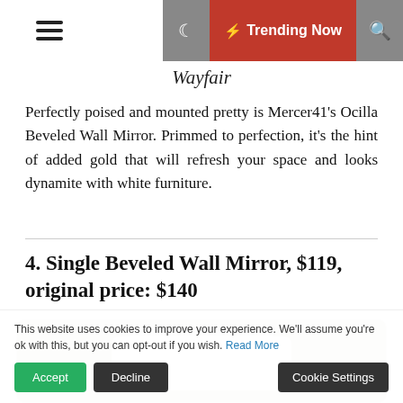Wayfair | Trending Now navigation bar
Wayfair
Perfectly poised and mounted pretty is Mercer41's Ocilla Beveled Wall Mirror. Primmed to perfection, it's the hint of added gold that will refresh your space and looks dynamite with white furniture.
4. Single Beveled Wall Mirror, $119, original price: $140
[Figure (photo): Photo of a white beveled wall mirror against a neutral background]
This website uses cookies to improve your experience. We'll assume you're ok with this, but you can opt-out if you wish. Read More
Accept | Decline | Cookie Settings